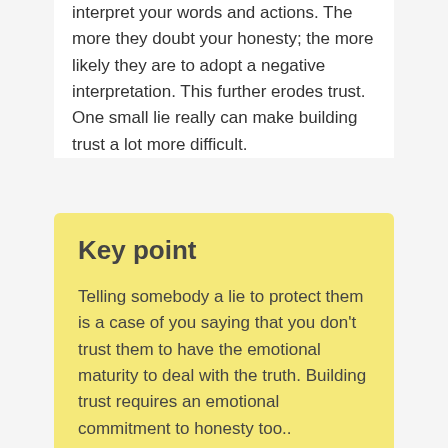interpret your words and actions. The more they doubt your honesty; the more likely they are to adopt a negative interpretation. This further erodes trust. One small lie really can make building trust a lot more difficult.
Key point
Telling somebody a lie to protect them is a case of you saying that you don't trust them to have the emotional maturity to deal with the truth. Building trust requires an emotional commitment to honesty too..